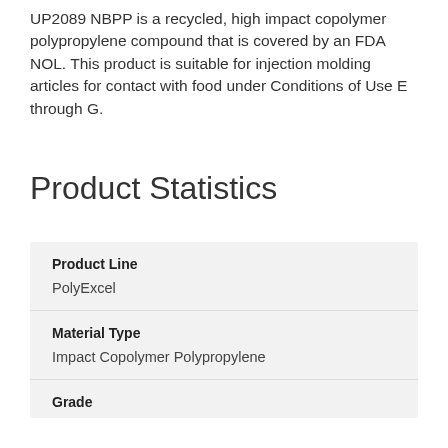UP2089 NBPP is a recycled, high impact copolymer polypropylene compound that is covered by an FDA NOL. This product is suitable for injection molding articles for contact with food under Conditions of Use E through G.
Product Statistics
| Product Line | Material Type | Grade |
| --- | --- | --- |
| PolyExcel |
| Impact Copolymer Polypropylene |
|  |